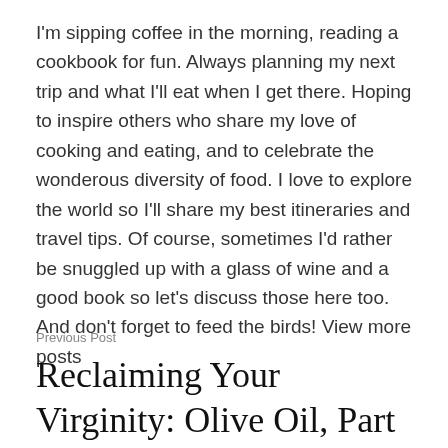I'm sipping coffee in the morning, reading a cookbook for fun. Always planning my next trip and what I'll eat when I get there. Hoping to inspire others who share my love of cooking and eating, and to celebrate the wonderous diversity of food. I love to explore the world so I'll share my best itineraries and travel tips. Of course, sometimes I'd rather be snuggled up with a glass of wine and a good book so let's discuss those here too. And don't forget to feed the birds! View more posts
Previous Post
Reclaiming Your Virginity: Olive Oil, Part II